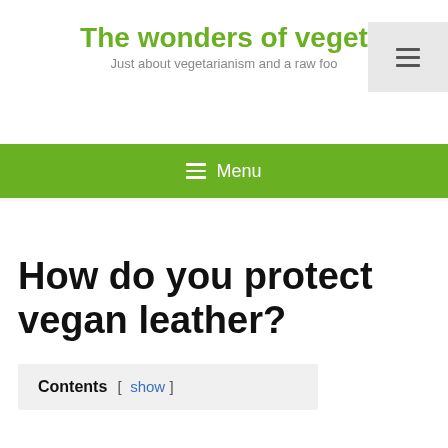The wonders of veget
Just about vegetarianism and a raw foo
≡ Menu
How do you protect vegan leather?
Contents [ show ]